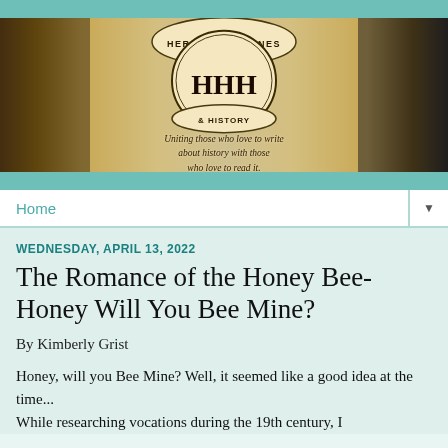[Figure (illustration): Blog header banner for 'Heroes, Heroines & History' website featuring historical paintings of knights, women in period dress, and battle scenes, with a central circular logo showing 'HHH' initials and the tagline 'Uniting those who love to write about history with those who love to read it.']
Home ▼
WEDNESDAY, APRIL 13, 2022
The Romance of the Honey Bee- Honey Will You Bee Mine?
By Kimberly Grist
Honey, will you Bee Mine? Well, it seemed like a good idea at the time...
While researching vocations during the 19th century, I